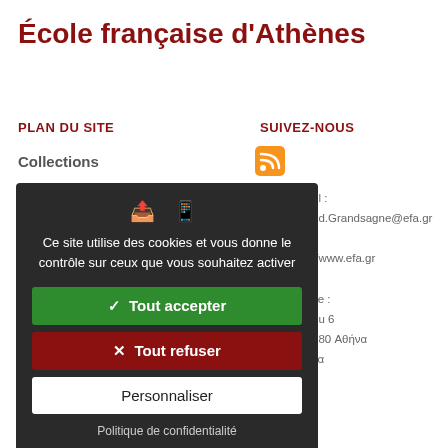École française d'Athènes
PLAN DU SITE
SUIVEZ-NOUS
Collections
[Figure (logo): RSS feed orange icon]
el :
nd.Grandsagne@efa.gr

//www.efa.gr

se :
ou 6
680 Αθήνα
ςα
[Figure (screenshot): Cookie consent modal dialog with dark background. Shows two icons (share and mobile), cookie message text in French, a green 'Tout accepter' button, a red 'Tout refuser' button, a white 'Personnaliser' button, and a 'Politique de confidentialité' link.]
Ce site utilise des cookies et vous donne le contrôle sur ceux que vous souhaitez activer
✓  Tout accepter
✕  Tout refuser
Personnaliser
Politique de confidentialité